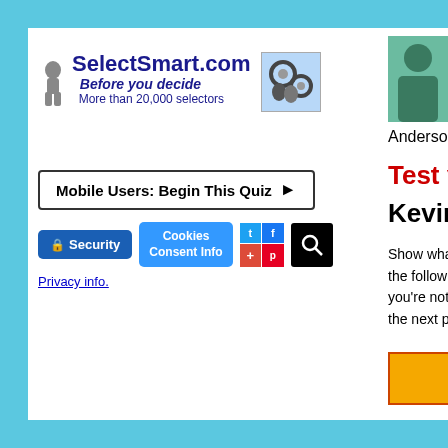[Figure (logo): SelectSmart.com logo with thinker icon and gears image]
SelectSmart.com
Before you decide
More than 20,000 selectors
Mobile Users: Begin This Quiz ►
Security
Cookies Consent Info
Privacy info.
Kno
Fam
Cele
Anderson.
Test your k
Kevin Fed
Show what you the following. An you're not sure. the next page.
Your firs